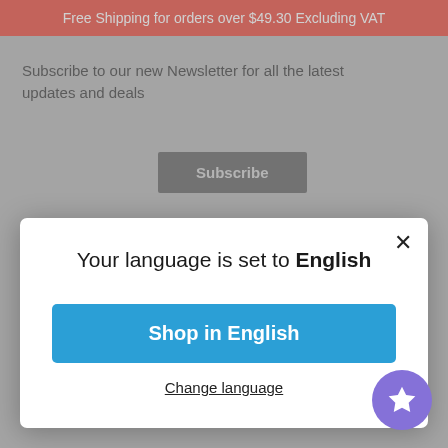Free Shipping for orders over $49.30 Excluding VAT
Subscribe to our new Newsletter for all the latest updates and deals
Subscribe
[Figure (screenshot): Modal dialog box with language selection. Title: 'Your language is set to English'. Blue button: 'Shop in English'. Link: 'Change language'. Close (X) button in top right.]
Registration & Sample Code)
£4.50 Inc VAT